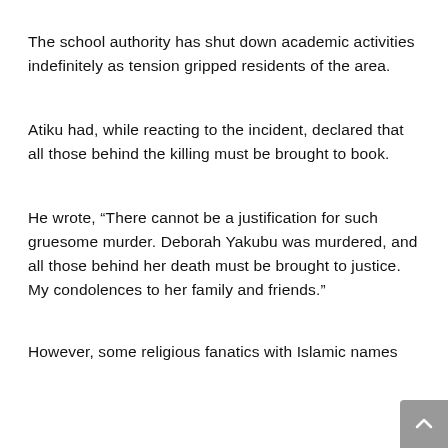The school authority has shut down academic activities indefinitely as tension gripped residents of the area.
Atiku had, while reacting to the incident, declared that all those behind the killing must be brought to book.
He wrote, “There cannot be a justification for such gruesome murder. Deborah Yakubu was murdered, and all those behind her death must be brought to justice. My condolences to her family and friends.”
However, some religious fanatics with Islamic names stormed the campus and...